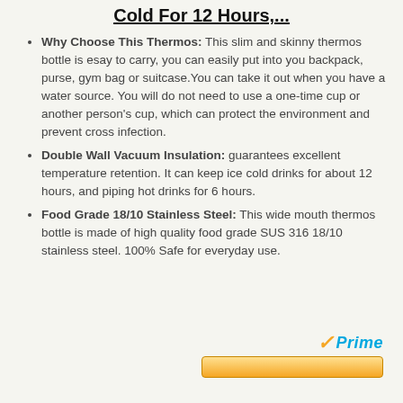Cold For 12 Hours,...
Why Choose This Thermos: This slim and skinny thermos bottle is esay to carry, you can easily put into you backpack, purse, gym bag or suitcase.You can take it out when you have a water source. You will do not need to use a one-time cup or another person's cup, which can protect the environment and prevent cross infection.
Double Wall Vacuum Insulation: guarantees excellent temperature retention. It can keep ice cold drinks for about 12 hours, and piping hot drinks for 6 hours.
Food Grade 18/10 Stainless Steel: This wide mouth thermos bottle is made of high quality food grade SUS 316 18/10 stainless steel. 100% Safe for everyday use.
[Figure (logo): Amazon Prime logo with orange checkmark and blue Prime text, followed by a yellow buy button]